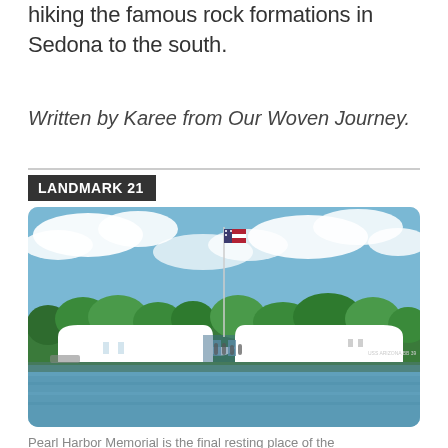hiking the famous rock formations in Sedona to the south.
Written by Karee from Our Woven Journey.
LANDMARK 21
[Figure (photo): Aerial waterside view of the Pearl Harbor Memorial (USS Arizona Memorial) — a white curved structure sitting over water with an American flag on a tall flagpole, green trees in the background, and blue sky with clouds above.]
Pearl Harbor Memorial is the final resting place of the